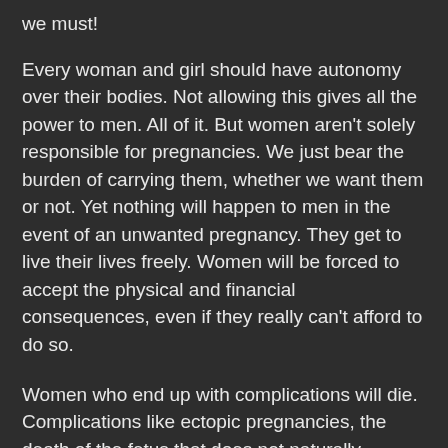we must!
Every woman and girl should have autonomy over their bodies. Not allowing this gives all the power to men. All of it. But women aren't solely responsible for pregnancies. We just bear the burden of carrying them, whether we want them or not. Yet nothing will happen to men in the event of an unwanted pregnancy. They get to live their lives freely. Women will be forced to accept the physical and financial consequences, even if they really can't afford to do so.
Women who end up with complications will die. Complications like ectopic pregnancies, the death of the fetus that does not naturally miscarry, severe chromosomal anomalies which would cause severe pain and death for a fetus: all of these possible